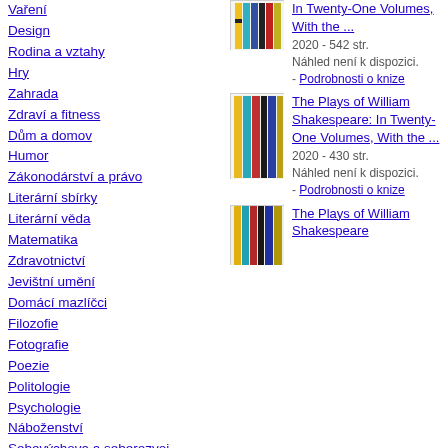Vaření
Design
Rodina a vztahy
Hry
Zahrada
Zdraví a fitness
Dům a domov
Humor
Zákonodárství a právo
Literární sbírky
Literární věda
Matematika
Zdravotnictví
Jevištní umění
Domácí mazlíčci
Filozofie
Fotografie
Poezie
Politologie
Psychologie
Náboženství
Sebevýchova a seberozvoj
[Figure (illustration): Book cover showing colorful vertical book spines - first instance (top)]
The Plays of William Shakespeare: In Twenty-One Volumes, With the ...
2020 - 542 str. Náhled není k&nbsp;dispozici. - Podrobnosti o knize
[Figure (illustration): Book cover showing colorful vertical book spines - second instance (middle)]
The Plays of William Shakespeare: In Twenty-One Volumes, With the ...
2020 - 430 str. Náhled není k&nbsp;dispozici. - Podrobnosti o knize
[Figure (illustration): Book cover showing colorful vertical book spines - third instance (bottom, partially visible)]
The Plays of William Shakespeare